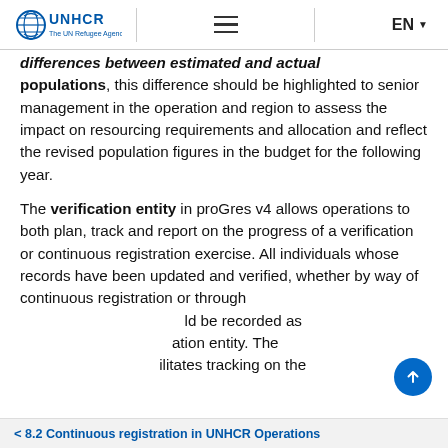UNHCR The UN Refugee Agency | ☰ | EN
differences between estimated and actual populations, this difference should be highlighted to senior management in the operation and region to assess the impact on resourcing requirements and allocation and reflect the revised population figures in the budget for the following year.
The verification entity in proGres v4 allows operations to both plan, track and report on the progress of a verification or continuous registration exercise. All individuals whose records have been updated and verified, whether by way of continuous registration or through [a verific]ation exercise, sh[ou]ld be recorded as [a verificati]on entity. The [entity facil]itates tracking on the
< 8.2 Continuous registration in UNHCR Operations